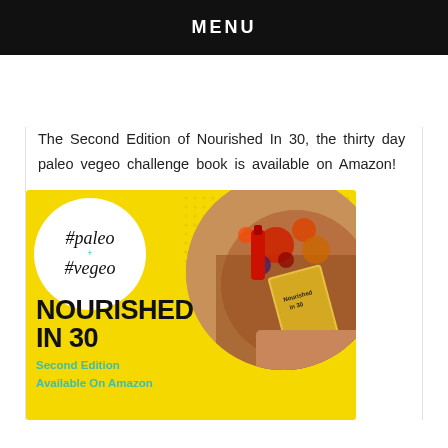MENU
The Second Edition of Nourished In 30, the thirty day paleo vegeo challenge book is available on Amazon!
[Figure (illustration): Book advertisement for 'Nourished In 30 Second Edition Available On Amazon' on a yellow background with a white circle badge showing #paleo + #vegeo in script font, and a circular food photo on the right showing a book and colorful foods/textiles.]